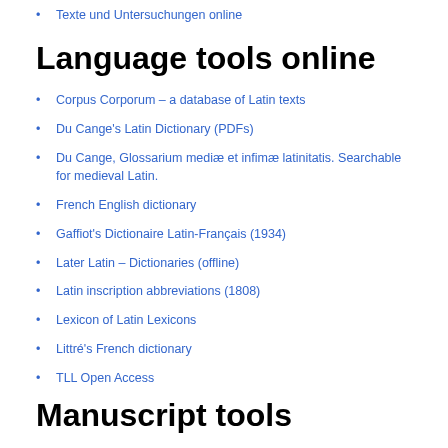Texte und Untersuchungen online
Language tools online
Corpus Corporum – a database of Latin texts
Du Cange's Latin Dictionary (PDFs)
Du Cange, Glossarium mediæ et infimæ latinitatis. Searchable for medieval Latin.
French English dictionary
Gaffiot's Dictionaire Latin-Français (1934)
Later Latin – Dictionaries (offline)
Latin inscription abbreviations (1808)
Lexicon of Latin Lexicons
Littré's French dictionary
TLL Open Access
Manuscript tools